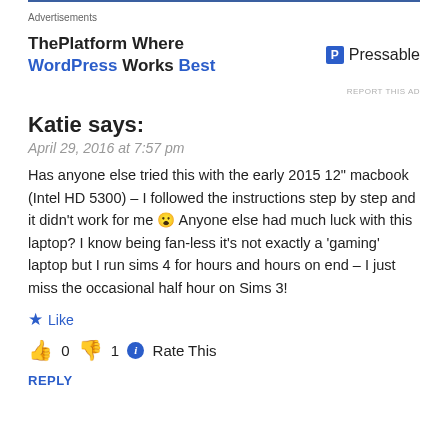[Figure (other): Advertisement banner: ThePlatform Where WordPress Works Best — Pressable logo]
REPORT THIS AD
Katie says:
April 29, 2016 at 7:57 pm
Has anyone else tried this with the early 2015 12" macbook (Intel HD 5300) – I followed the instructions step by step and it didn't work for me 😮 Anyone else had much luck with this laptop? I know being fan-less it's not exactly a 'gaming' laptop but I run sims 4 for hours and hours on end – I just miss the occasional half hour on Sims 3!
★ Like
👍 0 👎 1 ℹ Rate This
REPLY